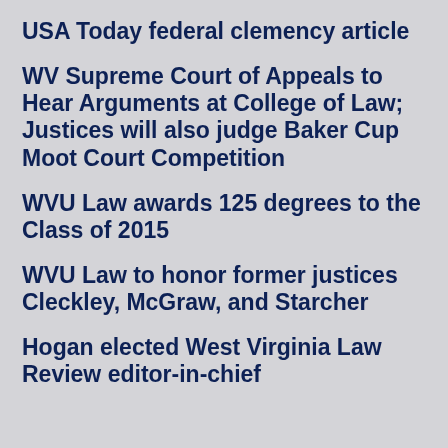USA Today federal clemency article
WV Supreme Court of Appeals to Hear Arguments at College of Law; Justices will also judge Baker Cup Moot Court Competition
WVU Law awards 125 degrees to the Class of 2015
WVU Law to honor former justices Cleckley, McGraw, and Starcher
Hogan elected West Virginia Law Review editor-in-chief